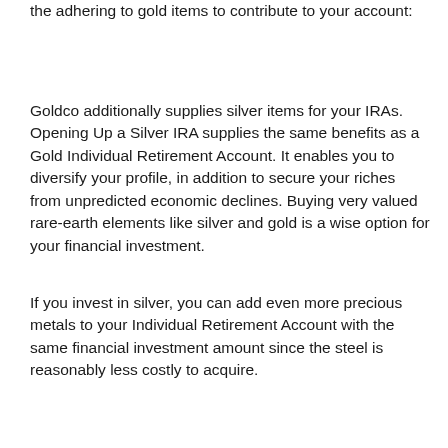the adhering to gold items to contribute to your account:
Goldco additionally supplies silver items for your IRAs. Opening Up a Silver IRA supplies the same benefits as a Gold Individual Retirement Account. It enables you to diversify your profile, in addition to secure your riches from unpredicted economic declines. Buying very valued rare-earth elements like silver and gold is a wise option for your financial investment.
If you invest in silver, you can add even more precious metals to your Individual Retirement Account with the same financial investment amount since the steel is reasonably less costly to acquire.